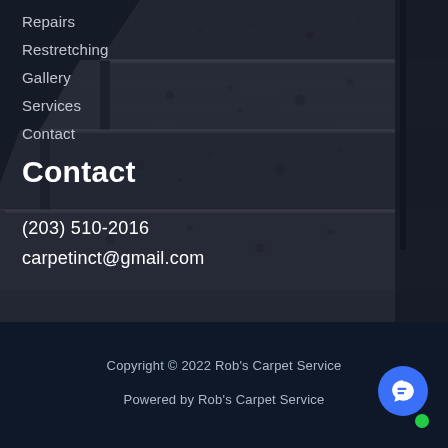[Figure (photo): Background photo of carpeted stairs with dark overlay. The stairs have a patterned gray carpet and dark wooden banister rails on the right side.]
Repairs
Restretching
Gallery
Services
Contact
Contact
(203) 510-2016
carpetinct@gmail.com
Copyright © 2022 Rob's Carpet Service
Powered by Rob's Carpet Service